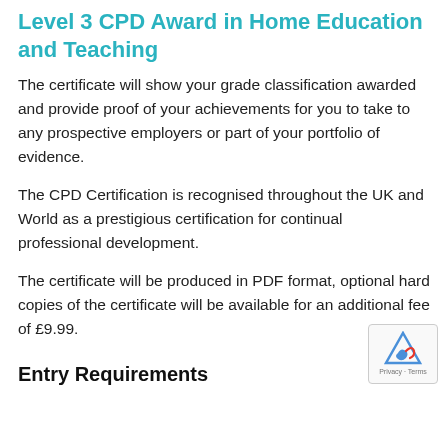Level 3 CPD Award in Home Education and Teaching
The certificate will show your grade classification awarded and provide proof of your achievements for you to take to any prospective employers or part of your portfolio of evidence.
The CPD Certification is recognised throughout the UK and World as a prestigious certification for continual professional development.
The certificate will be produced in PDF format, optional hard copies of the certificate will be available for an additional fee of £9.99.
Entry Requirements